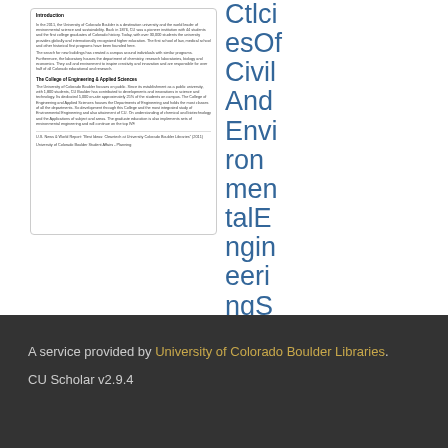[Figure (screenshot): Thumbnail/preview of a PDF document page showing 'Introduction' heading and 'The College of Engineering & Applied Sciences' section with small body text]
CtlciesOfCivilAndEnvironmentalEngineeringScholar.pdf
A service provided by University of Colorado Boulder Libraries. CU Scholar v2.9.4